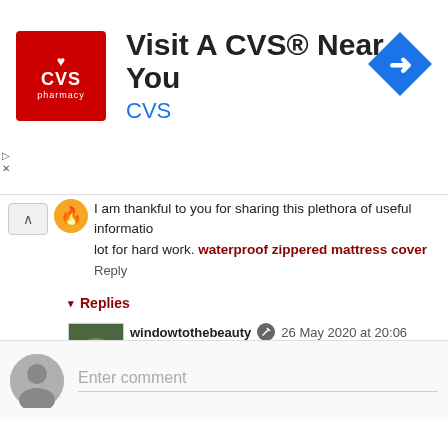[Figure (screenshot): CVS Pharmacy advertisement banner: red CVS pharmacy logo on the left, large text 'Visit A CVS® Near You' with 'CVS' in blue below, and a blue diamond-shaped map/directions icon on the right]
I am thankful to you for sharing this plethora of useful information lot for hard work. waterproof zippered mattress cover
Reply
▾ Replies
windowtothebeauty 26 May 2020 at 20:06
Thanks:**I hope you will stay for longer and maybe consi
Reply